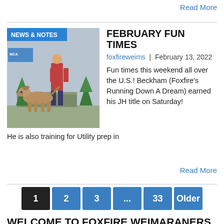Read More
[Figure (photo): Dog show photograph: a handler in red top and jeans poses a large Weimaraner dog on a platform indoors, with Christmas trees and backdrop visible. Blue 'NEWS & NOTES' badge overlaid on top-left of image.]
FEBRUARY FUN TIMES
foxfireweims | February 13, 2022
Fun times this weekend all over the U.S.! Beckham (Foxfire’s Running Down A Dream) earned his JH title on Saturday! He is also training for Utility prep in
Read More
1
2
3
...
33
Older
WELCOME TO FOXFIRE WEIMARANERS
We are located in Black Forest, Colorado, U.S.A. We live on five acres just north of Colorado Springs with a beautiful view of Pikes Peak to the west, and the Colorado plains to the east. We are